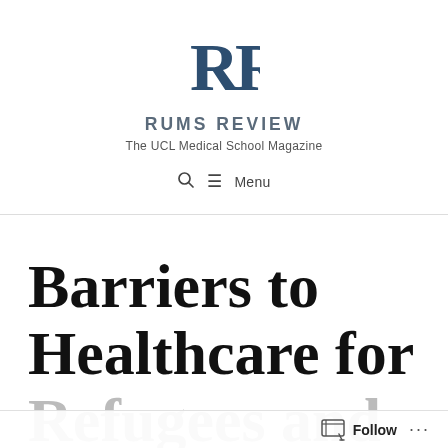[Figure (logo): RR monogram logo in dark blue serif font for Rums Review]
RUMS REVIEW
The UCL Medical School Magazine
🔍 ☰ Menu
Barriers to Healthcare for Refugees and